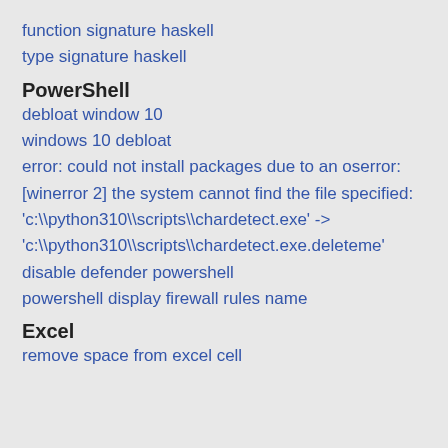function signature haskell
type signature haskell
PowerShell
debloat window 10
windows 10 debloat
error: could not install packages due to an oserror: [winerror 2] the system cannot find the file specified: 'c:\\python310\\scripts\\chardetect.exe' -> 'c:\\python310\\scripts\\chardetect.exe.deleteme'
disable defender powershell
powershell display firewall rules name
Excel
remove space from excel cell